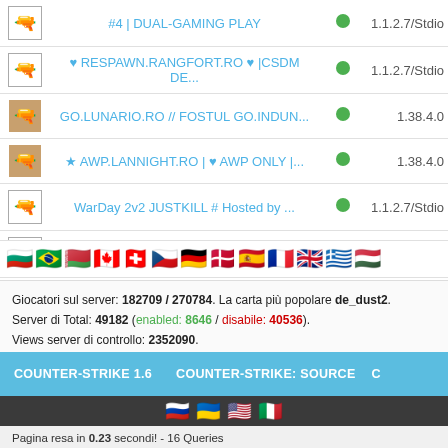| Icon | Server Name | Status | Version |
| --- | --- | --- | --- |
| [icon] | #4 | DUAL-GAMING PLAY | ● | 1.1.2.7/Stdio |
| [icon] | ♥ RESPAWN.RANGFORT.RO ♥ |CSDM DE... | ● | 1.1.2.7/Stdio |
| [icon] | GO.LUNARIO.RO // FOSTUL GO.INDUN... | ● | 1.38.4.0 |
| [icon] | ★ AWP.LANNIGHT.RO | ♥ AWP ONLY |... | ● | 1.38.4.0 |
| [icon] | WarDay 2v2 JUSTKILL # Hosted by ... | ● | 1.1.2.7/Stdio |
| [icon] | MIX2.DANGERSCS.RO | TS.DANGERSCS.RO | ● | 1.1.2.7/Stdio |
| [icon] | RESPAWN.INTRUSII.RO # CSDM 2022 | ● | 1.1.2.7/Stdio |
[Figure (other): Row of country flag emojis: Bulgaria, Brazil, Belarus, Canada, Switzerland, Czech Republic, Germany, Denmark, Spain, France, UK, Greece, Hungary, and more]
Giocatori sul server: 182709 / 270784. La carta più popolare de_dust2.
Server di Total: 49182 (enabled: 8646 / disabile: 40536).
Views server di controllo: 2352090.
COUNTER-STRIKE 1.6   COUNTER-STRIKE: SOURCE   C...
[Figure (other): Footer flags: Russian, Ukrainian, US, Italian]
Pagina resa in 0.23 secondi! - 16 Queries
32,573,127 visite uniche